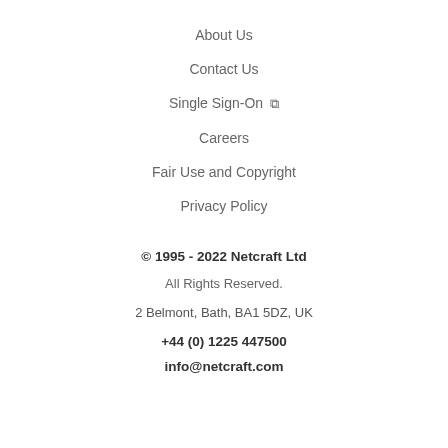About Us
Contact Us
Single Sign-On ↗
Careers
Fair Use and Copyright
Privacy Policy
© 1995 - 2022 Netcraft Ltd
All Rights Reserved.
2 Belmont, Bath, BA1 5DZ, UK
+44 (0) 1225 447500
info@netcraft.com